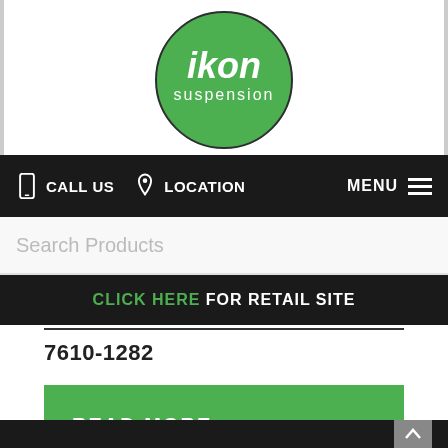[Figure (logo): Ikon Suspension logo - green circle with white text 'ikon suspension']
CALL US   LOCATION   MENU
Search Products
CLICK HERE FOR RETAIL SITE
7610-1282
READ MORE